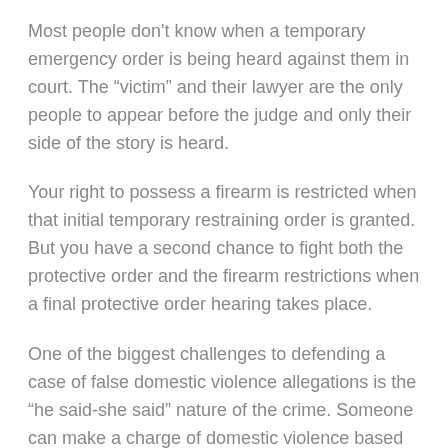Most people don't know when a temporary emergency order is being heard against them in court. The “victim” and their lawyer are the only people to appear before the judge and only their side of the story is heard.
Your right to possess a firearm is restricted when that initial temporary restraining order is granted. But you have a second chance to fight both the protective order and the firearm restrictions when a final protective order hearing takes place.
One of the biggest challenges to defending a case of false domestic violence allegations is the “he said-she said” nature of the crime. Someone can make a charge of domestic violence based on a perceived threat or emotional abuse, without any physical attack having taken place.